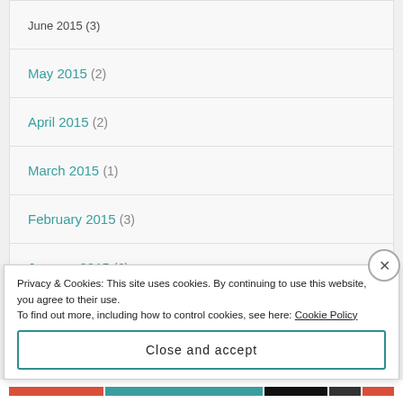May 2015 (2)
April 2015 (2)
March 2015 (1)
February 2015 (3)
January 2015 (6)
BLOG YANG SAYA IKUTI
Privacy & Cookies: This site uses cookies. By continuing to use this website, you agree to their use.
To find out more, including how to control cookies, see here: Cookie Policy
Close and accept